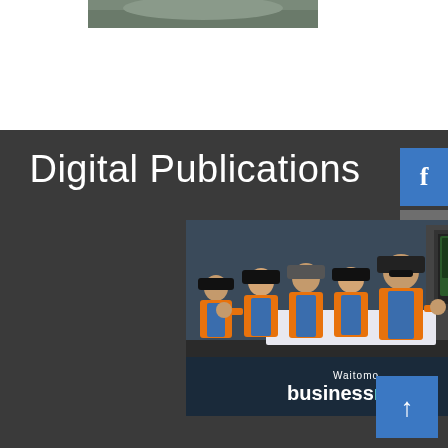[Figure (photo): Partial photo at top of page, cropped vehicle or object visible]
Digital Publications
[Figure (photo): Group of workers in orange high-visibility vests and hard hats standing in front of industrial equipment with a Waitomo sign. Business North magazine cover.]
[Figure (other): Facebook social media button (blue square with f icon)]
[Figure (other): LinkedIn social media button (grey square with in icon)]
[Figure (other): Scroll to top button (blue square with up arrow)]